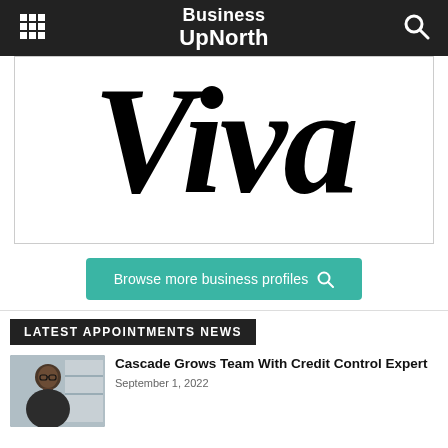Business UpNorth
[Figure (logo): Viva brand logo — large serif italic text reading 'Viva' in black on white background with border]
Browse more business profiles
LATEST APPOINTMENTS NEWS
[Figure (photo): Headshot photo of a woman]
Cascade Grows Team With Credit Control Expert
September 1, 2022